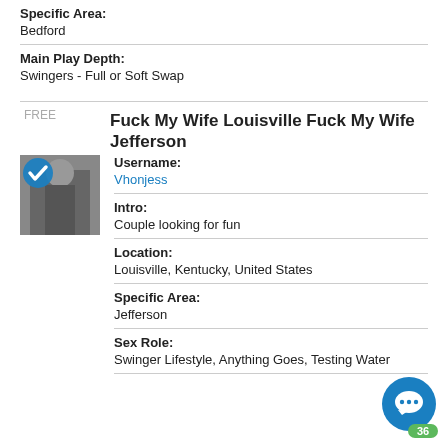Specific Area: Bedford
Main Play Depth: Swingers - Full or Soft Swap
Fuck My Wife Louisville Fuck My Wife Jefferson
Username: Vhonjess
Intro: Couple looking for fun
Location: Louisville, Kentucky, United States
Specific Area: Jefferson
Sex Role: Swinger Lifestyle, Anything Goes, Testing Water